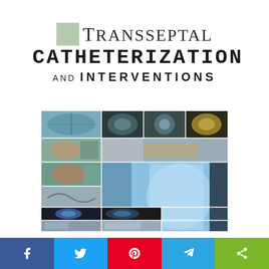Transseptal Catheterization and Interventions
[Figure (photo): Book cover collage of medical imaging photos including echocardiography, fluoroscopy, and anatomical images arranged in a grid pattern]
[Figure (infographic): Social media sharing bar with Facebook, Twitter, Pinterest, Telegram, and share icons]